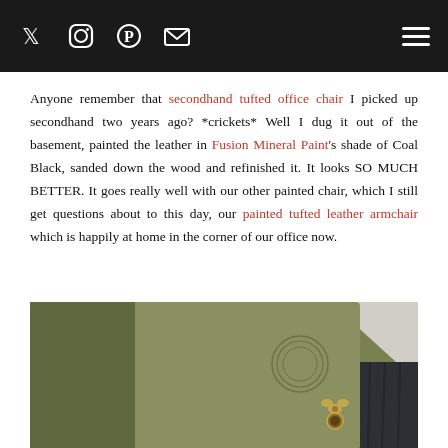[Social icons: Twitter, Instagram, Pinterest, Email] [Hamburger menu]
Anyone remember that secondhand tufted office chair I picked up secondhand two years ago? *crickets* Well I dug it out of the basement, painted the leather in Fusion Mineral Paint's shade of Coal Black, sanded down the wood and refinished it. It looks SO MUCH BETTER. It goes really well with our other painted chair, which I still get questions about to this day, our painted tufted leather armchair which is happily at home in the corner of our office now.
[Figure (photo): Close-up photo of a dark olive/army green tufted chair back with a circular medallion detail, positioned against a matching green wall with dark charcoal velvet curtain visible at the right.]